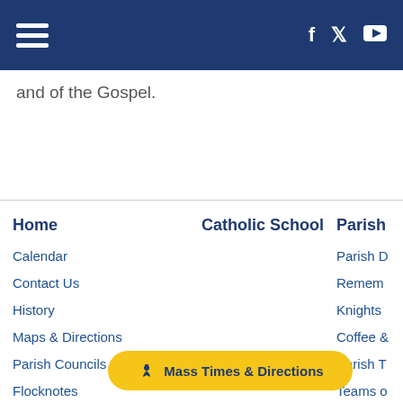Navigation header with hamburger menu and social icons (Facebook, Twitter, YouTube)
and of the Gospel.
Home
Calendar
Contact Us
History
Maps & Directions
Parish Councils
Flocknotes
Photo Albums
Current Bulletin
Previous Bulletins
Parish Registration
Catholic School
Parish
Parish D
Remem
Knights
Coffee &
Parish T
Teams o
Scouts
Called T
[Figure (other): Mass Times & Directions button with chalice icon in gold/yellow rounded pill shape]